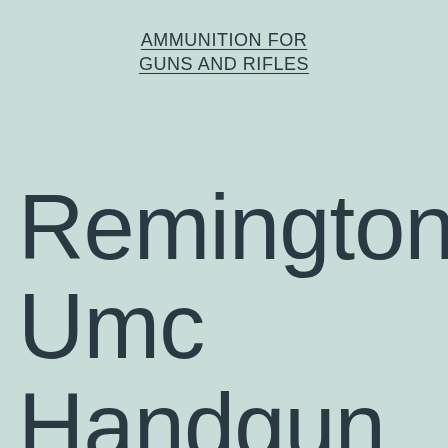AMMUNITION FOR GUNS AND RIFLES
Remington Umc Handgun Ammo 100 Round